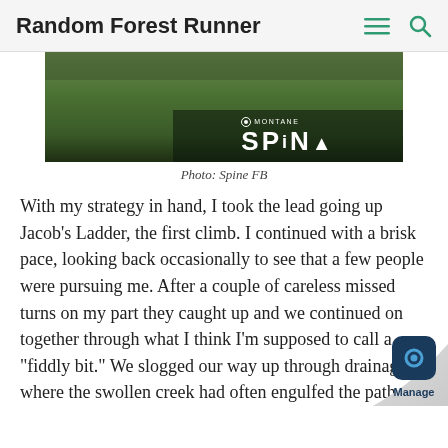Random Forest Runner
[Figure (photo): Photo of a grassy field finish area with Montane Spine race branding banner visible in the lower right corner.]
Photo: Spine FB
With my strategy in hand, I took the lead going up Jacob’s Ladder, the first climb. I continued with a brisk pace, looking back occasionally to see that a few people were pursuing me. After a couple of careless missed turns on my part they caught up and we continued on together through what I think I’m supposed to call a “fiddly bit.” We slogged our way up through drainage where the swollen creek had often engulfed the path.